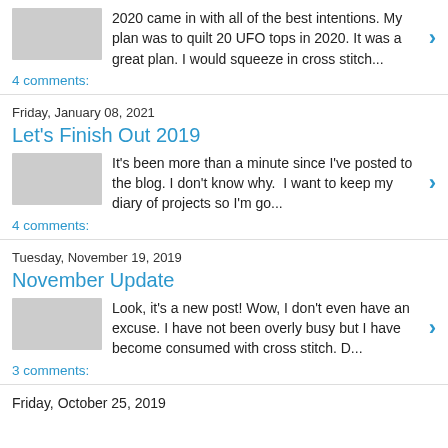2020 came in with all of the best intentions. My plan was to quilt 20 UFO tops in 2020. It was a great plan. I would squeeze in cross stitch...
4 comments:
Friday, January 08, 2021
Let's Finish Out 2019
It's been more than a minute since I've posted to the blog. I don't know why.  I want to keep my diary of projects so I'm go...
4 comments:
Tuesday, November 19, 2019
November Update
Look, it's a new post! Wow, I don't even have an excuse. I have not been overly busy but I have become consumed with cross stitch. D...
3 comments:
Friday, October 25, 2019